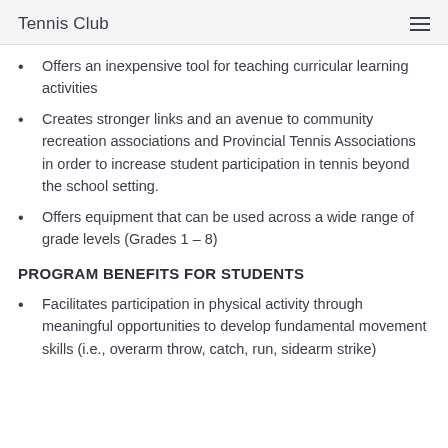Tennis Club
Offers an inexpensive tool for teaching curricular learning activities
Creates stronger links and an avenue to community recreation associations and Provincial Tennis Associations in order to increase student participation in tennis beyond the school setting.
Offers equipment that can be used across a wide range of grade levels (Grades 1 – 8)
PROGRAM BENEFITS FOR STUDENTS
Facilitates participation in physical activity through meaningful opportunities to develop fundamental movement skills (i.e., overarm throw, catch, run, sidearm strike)